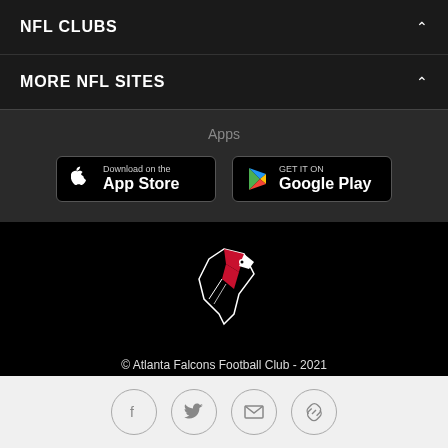NFL CLUBS
MORE NFL SITES
Apps
[Figure (logo): Download on the App Store button]
[Figure (logo): Get it on Google Play button]
[Figure (logo): Atlanta Falcons Football Club logo - falcon head in red and black]
© Atlanta Falcons Football Club - 2021
PRIVACY POLICY
EMPLOYMENT
FAQ
[Figure (infographic): Social media icons: Facebook, Twitter, Email, Link]